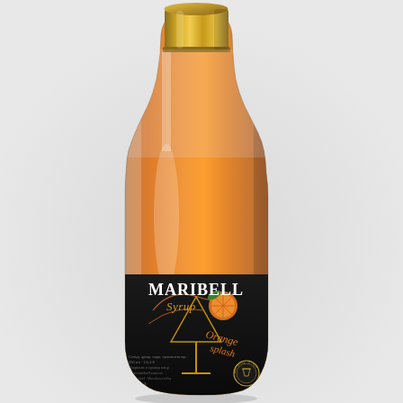[Figure (photo): A glass bottle of Maribell Syrup 'Orange Splash' flavour. The bottle has a gold metallic screw cap at the top. The body of the bottle contains a vivid orange-coloured syrup liquid. The label on the lower portion of the bottle is dark/black with gold and orange decorative elements, featuring a martini glass graphic with an orange splash, orange fruit slices, and the text 'MARIBELL Syrup Orange Splash' in stylized lettering. There is a circular badge/seal near the bottom right of the label. The bottle is photographed against a light grey/white background.]